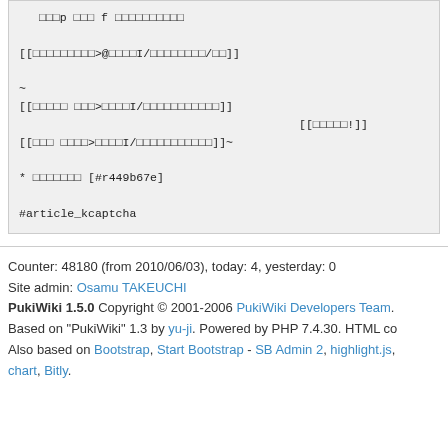Code block with Japanese wiki markup content including article_kcaptcha
Counter: 48180 (from 2010/06/03), today: 4, yesterday: 0
Site admin: Osamu TAKEUCHI
PukiWiki 1.5.0 Copyright © 2001-2006 PukiWiki Developers Team.
Based on "PukiWiki" 1.3 by yu-ji. Powered by PHP 7.4.30. HTML co
Also based on Bootstrap, Start Bootstrap - SB Admin 2, highlight.js, chart, Bitly.